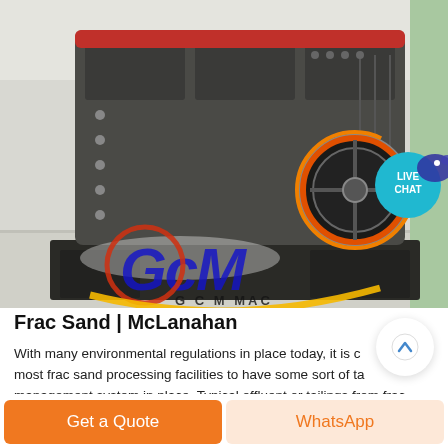[Figure (photo): Industrial hammer mill / crusher machine (GCM brand) displayed in a factory or exhibition hall. Large gray metallic machine with bolted panels, a flywheel visible on the right side with an orange and red circular guard. GCM MACHINERY watermark/logo overlaid in blue and red text with yellow arc. A 'LIVE CHAT' teal bubble with chat icon is visible in the upper right corner of the image.]
Frac Sand | McLanahan
With many environmental regulations in place today, it is critical for most frac sand processing facilities to have some sort of tailings management system in place. Typical effluent or tailings from frac sand plants can include the minus 70mesh composed of fine sand, silts and clays; water; and solids concentrations of 3 to 10% solids by weight. McLanahan tailings management equipment helps